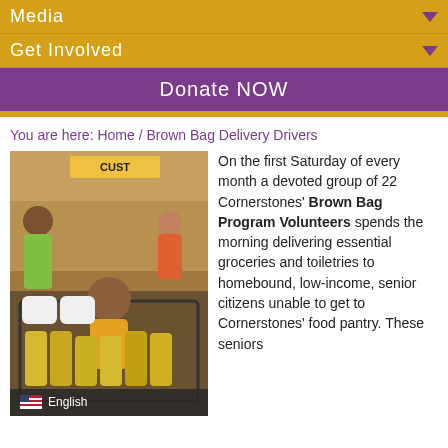Media
Get Involved
Donate NOW
You are here: Home / Brown Bag Delivery Drivers
[Figure (photo): Child sitting in a shopping cart filled with groceries and cooking oil bottles at a store checkout, with adults in the background. An English language badge is visible at the bottom.]
On the first Saturday of every month a devoted group of 22 Cornerstones' Brown Bag Program Volunteers spends the morning delivering essential groceries and toiletries to homebound, low-income, senior citizens unable to get to Cornerstones' food pantry.  These seniors